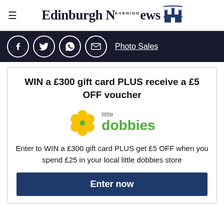Edinburgh Evening News
[Figure (infographic): Social media icons bar: Facebook, Twitter, WhatsApp, Email circles on dark background, with Photo Sales link]
WIN a £300 gift card PLUS receive a £5 OFF voucher
[Figure (logo): Little Dobbies logo: yellow flower icon with green dot center, text 'little dobbies' in green]
Enter to WIN a £300 gift card PLUS get £5 OFF when you spend £25 in your local little dobbies store
Enter now